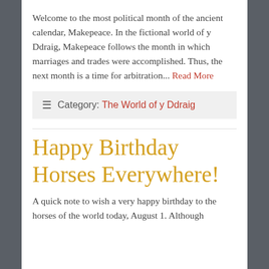Welcome to the most political month of the ancient calendar, Makepeace. In the fictional world of y Ddraig, Makepeace follows the month in which marriages and trades were accomplished. Thus, the next month is a time for arbitration... Read More
≡ Category: The World of y Ddraig
Happy Birthday Horses Everywhere!
A quick note to wish a very happy birthday to the horses of the world today, August 1. Although